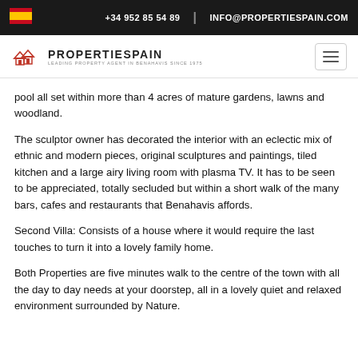+34 952 85 54 89 | INFO@PROPERTIESPAIN.COM
[Figure (logo): PropertiesSpain logo with house icon and text PROPERTIESPAIN - LEADING PROPERTY AGENT IN BENAHAVIS SINCE 1975]
pool all set within more than 4 acres of mature gardens, lawns and woodland.
The sculptor owner has decorated the interior with an eclectic mix of ethnic and modern pieces, original sculptures and paintings, tiled kitchen and a large airy living room with plasma TV. It has to be seen to be appreciated, totally secluded but within a short walk of the many bars, cafes and restaurants that Benahavis affords.
Second Villa: Consists of a house where it would require the last touches to turn it into a lovely family home.
Both Properties are five minutes walk to the centre of the town with all the day to day needs at your doorstep, all in a lovely quiet and relaxed environment surrounded by Nature.